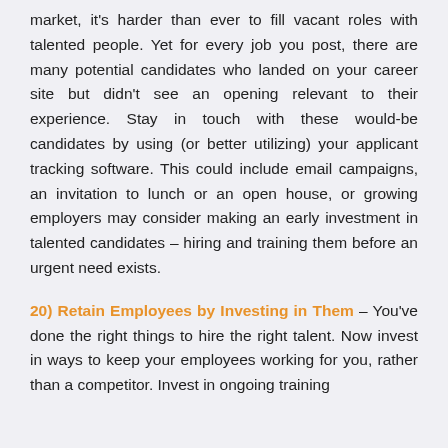market, it's harder than ever to fill vacant roles with talented people. Yet for every job you post, there are many potential candidates who landed on your career site but didn't see an opening relevant to their experience. Stay in touch with these would-be candidates by using (or better utilizing) your applicant tracking software. This could include email campaigns, an invitation to lunch or an open house, or growing employers may consider making an early investment in talented candidates – hiring and training them before an urgent need exists.
20) Retain Employees by Investing in Them – You've done the right things to hire the right talent. Now invest in ways to keep your employees working for you, rather than a competitor. Invest in ongoing training